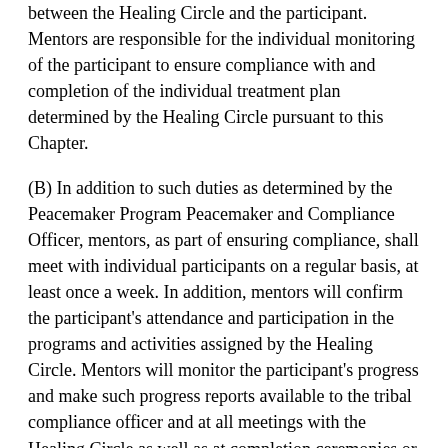between the Healing Circle and the participant. Mentors are responsible for the individual monitoring of the participant to ensure compliance with and completion of the individual treatment plan determined by the Healing Circle pursuant to this Chapter.
(B) In addition to such duties as determined by the Peacemaker Program Peacemaker and Compliance Officer, mentors, as part of ensuring compliance, shall meet with individual participants on a regular basis, at least once a week. In addition, mentors will confirm the participant's attendance and participation in the programs and activities assigned by the Healing Circle. Mentors will monitor the participant's progress and make such progress reports available to the tribal compliance officer and at all meetings with the Healing Circle as well as at completion ceremonies or feasts.
(C) Mentors shall be recruited and provided